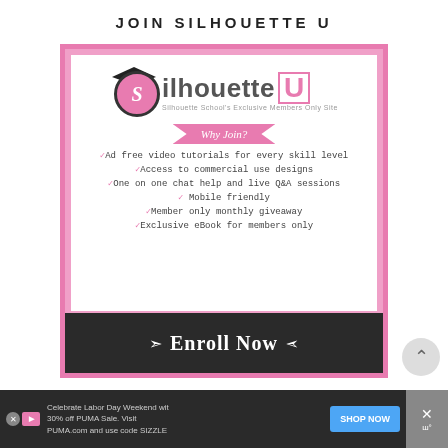JOIN SILHOUETTE U
[Figure (infographic): Silhouette U membership advertisement with logo (graduation cap, S in circle), 'Why Join?' banner, checklist of benefits, and 'Enroll Now' button at bottom]
Celebrate Labor Day Weekend wit 30% off PUMA Sale. Visit PUMA.com and use code SIZZLE  SHOP NOW